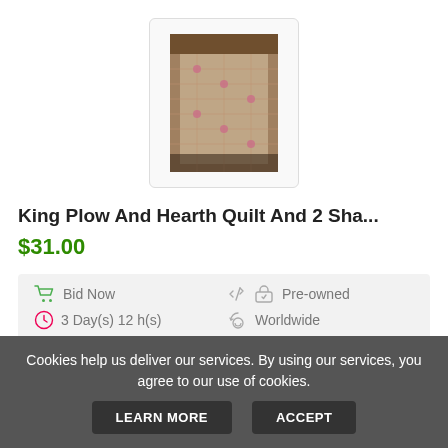[Figure (photo): Product thumbnail image of a King Plow And Hearth quilt set, showing a quilted bedding item with a floral or decorative pattern, displayed in a bordered box.]
King Plow And Hearth Quilt And 2 Sha...
$31.00
Bid Now
3 Day(s) 12 h(s)
3 days
Pre-owned
Worldwide
No Returns
BID NOW
Cookies help us deliver our services. By using our services, you agree to our use of cookies.
LEARN MORE
ACCEPT